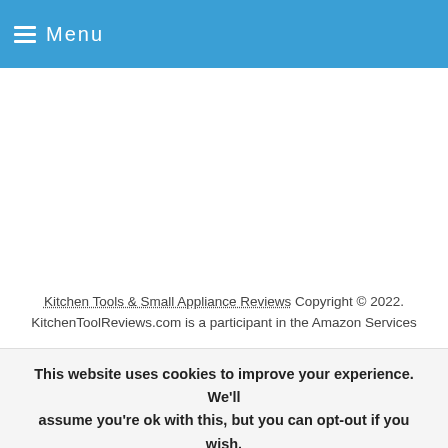≡ Menu
Kitchen Tools & Small Appliance Reviews Copyright © 2022. KitchenToolReviews.com is a participant in the Amazon Services
This website uses cookies to improve your experience. We'll assume you're ok with this, but you can opt-out if you wish.